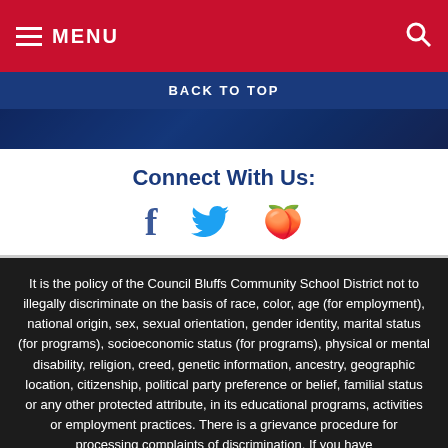MENU
BACK TO TOP
[Figure (photo): Background photo of students with hands raised]
Connect With Us:
[Figure (illustration): Social media icons: Facebook (f), Twitter bird, Peach fruit emoji]
It is the policy of the Council Bluffs Community School District not to illegally discriminate on the basis of race, color, age (for employment), national origin, sex, sexual orientation, gender identity, marital status (for programs), socioeconomic status (for programs), physical or mental disability, religion, creed, genetic information, ancestry, geographic location, citizenship, political party preference or belief, familial status or any other protected attribute, in its educational programs, activities or employment practices. There is a grievance procedure for processing complaints of discrimination. If you have
View Full Site